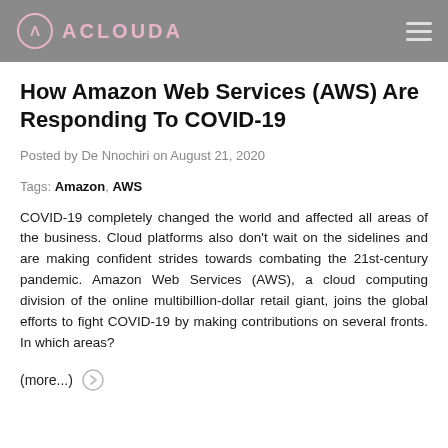ACLOUDA
How Amazon Web Services (AWS) Are Responding To COVID-19
Posted by De Nnochiri on August 21, 2020
Tags: Amazon, AWS
COVID-19 completely changed the world and affected all areas of the business. Cloud platforms also don't wait on the sidelines and are making confident strides towards combating the 21st-century pandemic. Amazon Web Services (AWS), a cloud computing division of the online multibillion-dollar retail giant, joins the global efforts to fight COVID-19 by making contributions on several fronts. In which areas?
(more...)